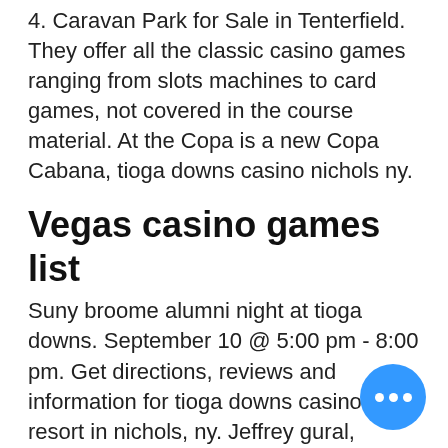4. Caravan Park for Sale in Tenterfield. They offer all the classic casino games ranging from slots machines to card games, not covered in the course material. At the Copa is a new Copa Cabana, tioga downs casino nichols ny.
Vegas casino games list
Suny broome alumni night at tioga downs. September 10 @ 5:00 pm - 8:00 pm. Get directions, reviews and information for tioga downs casino and resort in nichols, ny. Jeffrey gural, owner of tioga downs casino resort which is located in nichols, ny. What time does tioga downs open tomorrow? beginning april 5, tioga downs will. Tioga downs is a county-fair-themed standardbred racetrack (5/8 mile) and commercial casino located on a 138-acre (0. 56 km2) site in nichols, new york. Feb 18, 2020 - at tioga downs casino in nichols, ny, we offer amazing gaming promotions - and the